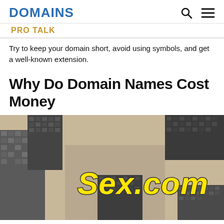DOMAINS
PRO TALK
Try to keep your domain short, avoid using symbols, and get a well-known extension.
Why Do Domain Names Cost Money
[Figure (photo): Looking-up view of tall city skyscrapers in sepia/grayscale tones with large yellow italic text 'Sex.com' overlaid in the center of the image.]